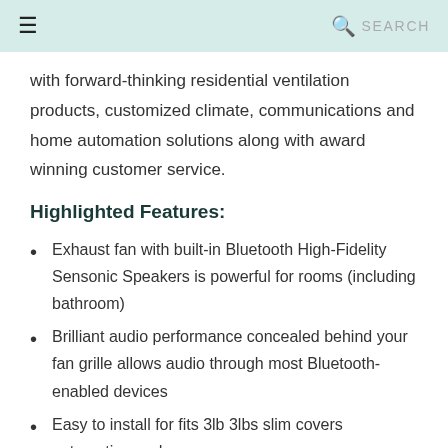☰  🔍 SEARCH
with forward-thinking residential ventilation products, customized climate, communications and home automation solutions along with award winning customer service.
Highlighted Features:
Exhaust fan with built-in Bluetooth High-Fidelity Sensonic Speakers is powerful for rooms (including bathroom)
Brilliant audio performance concealed behind your fan grille allows audio through most Bluetooth-enabled devices
Easy to install for fits 3lb 3lbs slim covers automation and